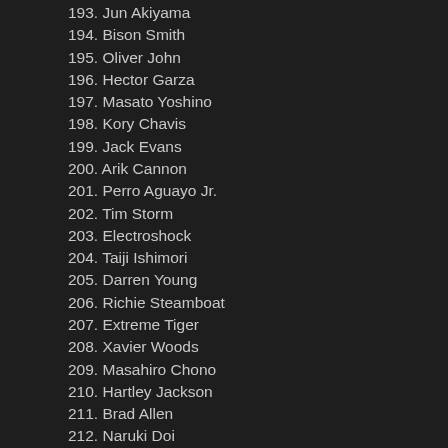193. Jun Akiyama
194. Bison Smith
195. Oliver John
196. Hector Garza
197. Masato Yoshino
198. Kory Chavis
199. Jack Evans
200. Arik Cannon
201. Perro Aguayo Jr.
202. Tim Storm
203. Electroshock
204. Taiji Ishimori
205. Darren Young
206. Richie Steamboat
207. Extreme Tiger
208. Xavier Woods
209. Masahiro Chono
210. Hartley Jackson
211. Brad Allen
212. Naruki Doi
213. Derrick Bateman
214. Johnny Vandal
215. Big E. Langston
216. Eric Escobar
217. Silver King
218. Chris Grey
219. Calvin Raines